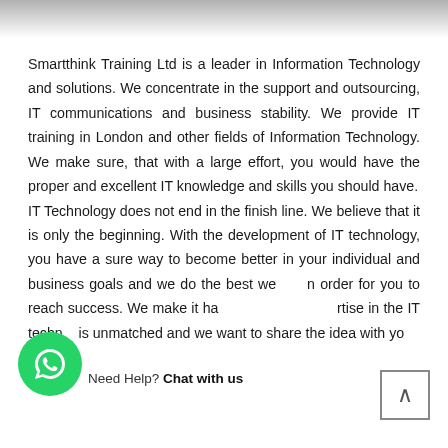[Figure (photo): Partial image strip at top of page, showing grey/faded photo content]
Smartthink Training Ltd is a leader in Information Technology and solutions. We concentrate in the support and outsourcing, IT communications and business stability. We provide IT training in London and other fields of Information Technology. We make sure, that with a large effort, you would have the proper and excellent IT knowledge and skills you should have. IT Technology does not end in the finish line. We believe that it is only the beginning. With the development of IT technology, you have a sure way to become better in your individual and business goals and we do the best we can in order for you to reach success. We make it happen. Our expertise in the IT technology is unmatched and we want to share the idea with yo